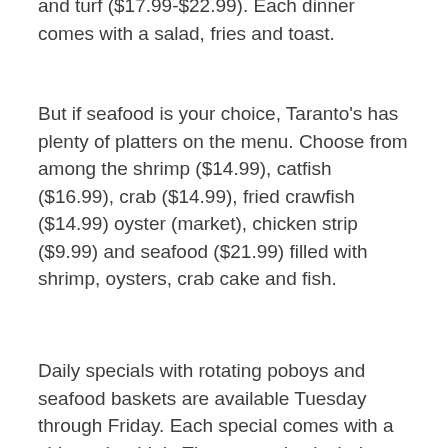and turf ($17.99-$22.99). Each dinner comes with a salad, fries and toast.
But if seafood is your choice, Taranto's has plenty of platters on the menu. Choose from among the shrimp ($14.99), catfish ($16.99), crab ($14.99), fried crawfish ($14.99) oyster (market), chicken strip ($9.99) and seafood ($21.99) filled with shrimp, oysters, crab cake and fish.
Daily specials with rotating poboys and seafood baskets are available Tuesday through Friday. Each special comes with a side and a drink. The menu also includes seafood and chicken salad burgers, and extra sides ranging fr onion rings to crab cakes.